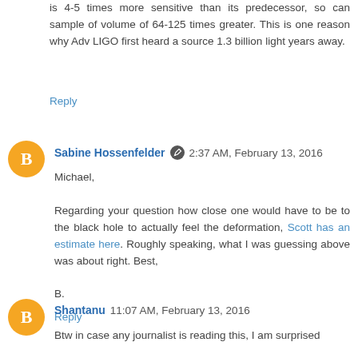is 4-5 times more sensitive than its predecessor, so can sample of volume of 64-125 times greater. This is one reason why Adv LIGO first heard a source 1.3 billion light years away.
Reply
Sabine Hossenfelder  2:37 AM, February 13, 2016
Michael,

Regarding your question how close one would have to be to the black hole to actually feel the deformation, Scott has an estimate here. Roughly speaking, what I was guessing above was about right. Best,

B.

Reply
Shantanu  11:07 AM, February 13, 2016
Btw in case any journalist is reading this, I am surprised